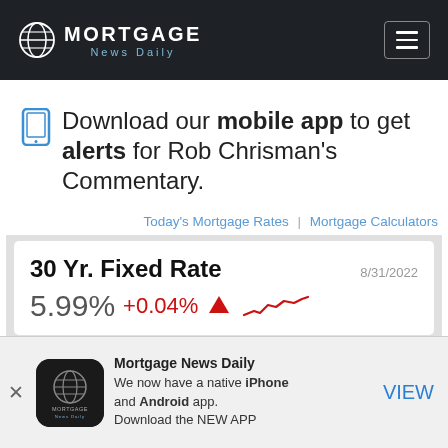MORTGAGE News Daily
Download our mobile app to get alerts for Rob Chrisman's Commentary.
Today's Mortgage Rates | Mortgage Calculators
| 30 Yr. Fixed Rate | 8/31/2022 |
| --- | --- |
| 5.99% | +0.04% |
Mortgage News Daily
We now have a native iPhone and Android app.
Download the NEW APP
VIEW